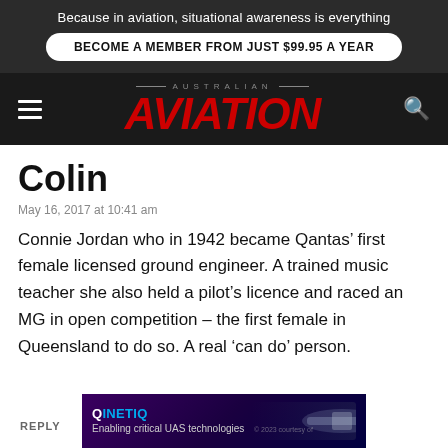Because in aviation, situational awareness is everything
BECOME A MEMBER FROM JUST $99.95 A YEAR
[Figure (logo): Australian Aviation magazine logo with red italic AVIATION text]
Colin
May 16, 2017 at 10:41 am
Connie Jordan who in 1942 became Qantas’ first female licensed ground engineer. A trained music teacher she also held a pilot’s licence and raced an MG in open competition – the first female in Queensland to do so. A real ‘can do’ person.
[Figure (infographic): QinetiQ advertisement: Enabling critical UAS technologies, with purple/dark background and aircraft imagery]
REPLY